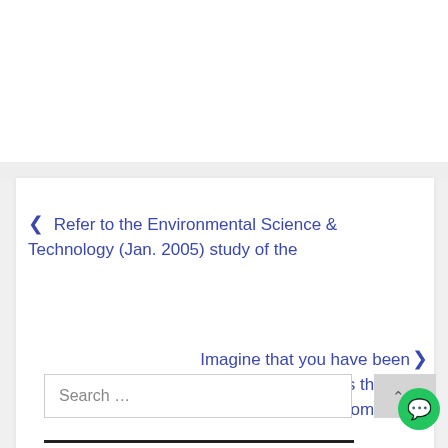< Refer to the Environmental Science & Technology (Jan. 2005) study of the
Imagine that you have been appointed as the Chief Compliance
Search ...